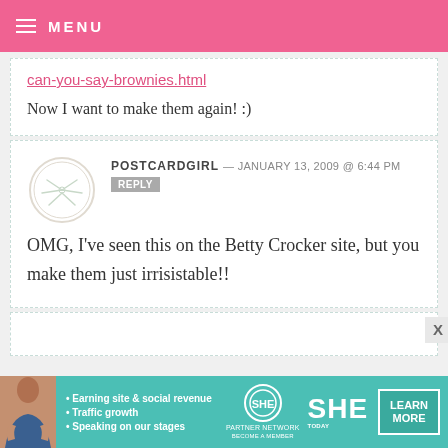MENU
can-you-say-brownies.html
Now I want to make them again! :)
POSTCARDGIRL — JANUARY 13, 2009 @ 6:44 PM  REPLY
OMG, I've seen this on the Betty Crocker site, but you make them just irrisistable!!
[Figure (other): Advertisement banner for SHE Partner Network featuring a woman and bullet points about earning site and social revenue, traffic growth, speaking on stages, with a Learn More button]